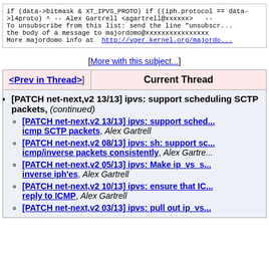if (data->bitmask & XT_IPVS_PROTO)
                if ((iph.protocol == data->l4proto) ^
--
Alex Gartrell <agartrell@xxxxxx>

--
To unsubscribe from this list: send the line "unsubscr...
the body of a message to majordomo@xxxxxxxxxxxxxxxx
More majordomo info at  http://vger.kernel.org/majordo...
[More with this subject...]
<Prev in Thread>] Current Thread
[PATCH net-next,v2 13/13] ipvs: support scheduling SCTP packets, (continued)
[PATCH net-next,v2 13/13] ipvs: support sched... icmp SCTP packets, Alex Gartrell
[PATCH net-next,v2 08/13] ipvs: sh: support sc... icmp/inverse packets consistently, Alex Gartrell
[PATCH net-next,v2 05/13] ipvs: Make ip_vs_s... inverse iph'es, Alex Gartrell
[PATCH net-next,v2 10/13] ipvs: ensure that IC... reply to ICMP, Alex Gartrell
[PATCH net-next,v2 03/13] ipvs: pull out ip_vs... function, Alex Gartrell